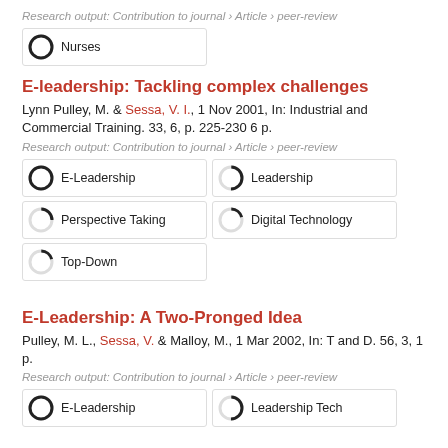Research output: Contribution to journal › Article › peer-review
Nurses (100%)
E-leadership: Tackling complex challenges
Lynn Pulley, M. & Sessa, V. I., 1 Nov 2001, In: Industrial and Commercial Training. 33, 6, p. 225-230 6 p.
Research output: Contribution to journal › Article › peer-review
E-Leadership (100%)
Leadership (50%)
Perspective Taking (25%)
Digital Technology (20%)
Top-Down (20%)
E-Leadership: A Two-Pronged Idea
Pulley, M. L., Sessa, V. & Malloy, M., 1 Mar 2002, In: T and D. 56, 3, 1 p.
Research output: Contribution to journal › Article › peer-review